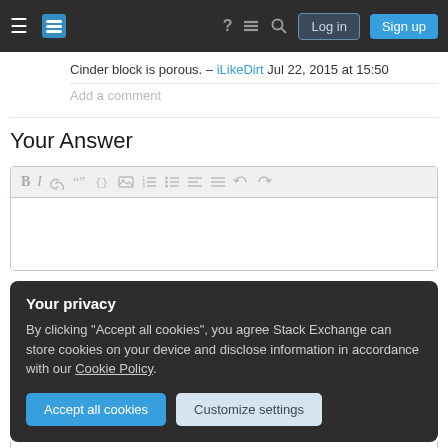Stack Exchange navigation bar with hamburger menu, logo, help, chat, search icons, Log in and Sign up buttons
Cinder block is porous. – iLikeDirt Jul 22, 2015 at 15:50
Add a comment
Your Answer
[Figure (screenshot): Answer editor toolbar with Bold, Italic, Link, Blockquote, Code, Image, Ordered list, Unordered list, and alignment/undo/redo buttons]
Your privacy
By clicking "Accept all cookies", you agree Stack Exchange can store cookies on your device and disclose information in accordance with our Cookie Policy.
Accept all cookies   Customize settings